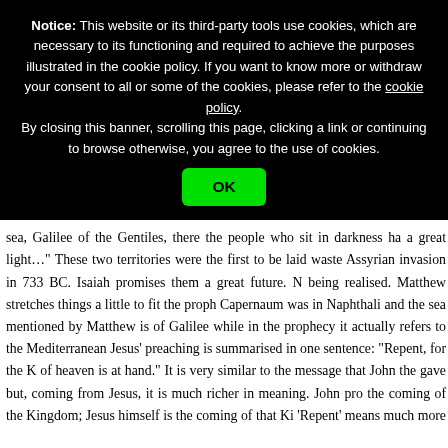Notice: This website or its third-party tools use cookies, which are necessary to its functioning and required to achieve the purposes illustrated in the cookie policy. If you want to know more or withdraw your consent to all or some of the cookies, please refer to the cookie policy. By closing this banner, scrolling this page, clicking a link or continuing to browse otherwise, you agree to the use of cookies.
OK
sea, Galilee of the Gentiles, there the people who sit in darkness ha a great light…" These two territories were the first to be laid waste Assyrian invasion in 733 BC. Isaiah promises them a great future. N being realised. Matthew stretches things a little to fit the proph Capernaum was in Naphthali and the sea mentioned by Matthew is of Galilee while in the prophecy it actually refers to the Mediterranean Jesus' preaching is summarised in one sentence: "Repent, for the K of heaven is at hand." It is very similar to the message that John the gave but, coming from Jesus, it is much richer in meaning. John pro the coming of the Kingdom; Jesus himself is the coming of that Ki 'Repent' means much more than the meaning we normally give to th namely, to regret, to be sorrowful for wrongs we have done. He represented by the Greek word metanoia which calls for a compl radical turnaround in the way we see life. It is not concerned with t